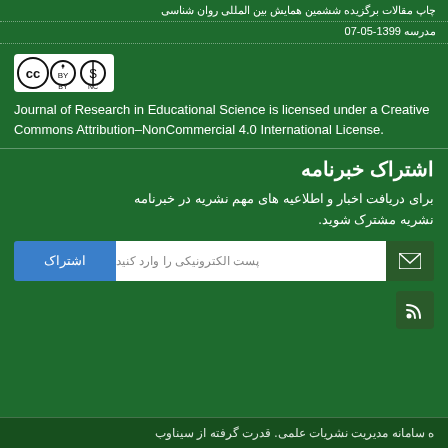چاپ مقالات برگزیده ششمین همایش بین المللی روان شناسی مدرسه 1399-05-07
[Figure (logo): Creative Commons Attribution-NonCommercial license badge (CC BY NC)]
Journal of Research in Educational Science is licensed under a Creative Commons Attribution-NonCommercial 4.0 International License.
اشتراک خبرنامه
برای دریافت اخبار و اطلاعیه های مهم نشریه در خبرنامه نشریه مشترک شوید.
پست الکترونیکی را وارد کنید — اشتراک
[Figure (logo): RSS feed icon]
ه سامانه مدیریت نشریات علمی. قدرت گرفته از سیناوب